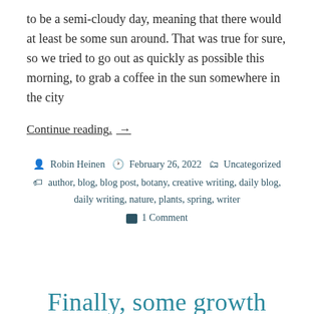to be a semi-cloudy day, meaning that there would at least be some sun around. That was true for sure, so we tried to go out as quickly as possible this morning, to grab a coffee in the sun somewhere in the city
Continue reading. →
Robin Heinen  February 26, 2022  Uncategorized  author, blog, blog post, botany, creative writing, daily blog, daily writing, nature, plants, spring, writer  1 Comment
Finally, some growth